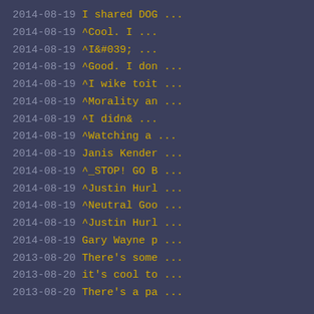2014-08-19 I shared DOG ...
2014-08-19 ^Cool. I ...
2014-08-19 ^I&#039; ...
2014-08-19 ^Good. I don ...
2014-08-19 ^I wike toit ...
2014-08-19 ^Morality an ...
2014-08-19 ^I didn& ...
2014-08-19 ^Watching a ...
2014-08-19 Janis Kender ...
2014-08-19 ^_STOP! GO B ...
2014-08-19 ^Justin Hurl ...
2014-08-19 ^Neutral Goo ...
2014-08-19 ^Justin Hurl ...
2014-08-19 Gary Wayne p ...
2013-08-20 There's some ...
2013-08-20 it's cool to ...
2013-08-20 There's a pa ...